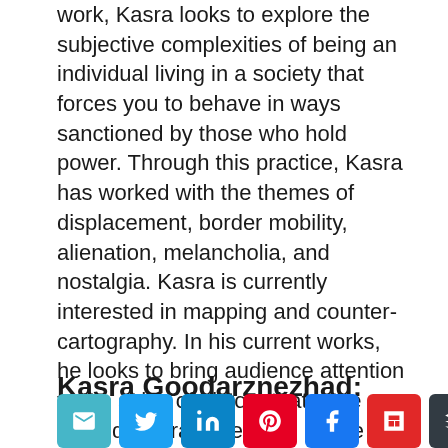work, Kasra looks to explore the subjective complexities of being an individual living in a society that forces you to behave in ways sanctioned by those who hold power. Through this practice, Kasra has worked with the themes of displacement, border mobility, alienation, melancholia, and nostalgia. Kasra is currently interested in mapping and counter-cartography. In his current works, he looks to bring audience attention to the sides of history that have been deliberately erased by the Western mainstream media.
Kasra Goodarznezhad:
[Figure (other): Social media share buttons: email, Twitter, LinkedIn, Pinterest, Facebook, Flipboard, Buffer]